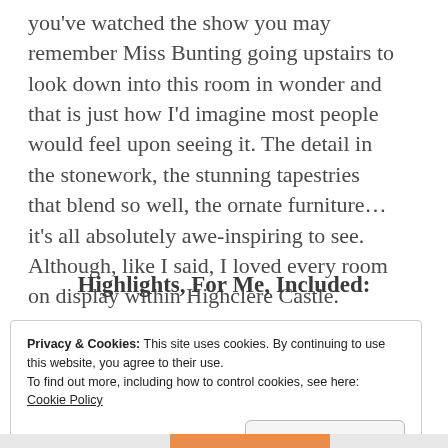you've watched the show you may remember Miss Bunting going upstairs to look down into this room in wonder and that is just how I'd imagine most people would feel upon seeing it. The detail in the stonework, the stunning tapestries that blend so well, the ornate furniture… it's all absolutely awe-inspiring to see. Although, like I said, I loved every room on display within Highclere Castle.
Highlights, For Me, Included:
Privacy & Cookies: This site uses cookies. By continuing to use this website, you agree to their use.
To find out more, including how to control cookies, see here: Cookie Policy
Close and accept